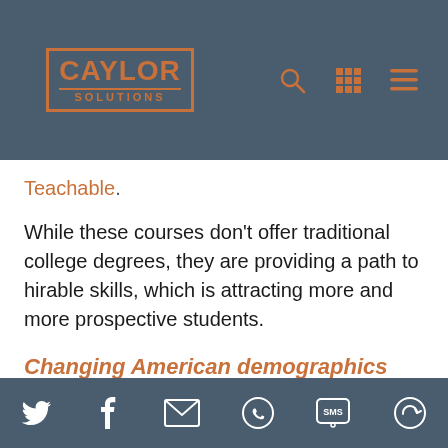[Figure (logo): Caylor Solutions logo in orange on dark blue/grey navigation header with search, grid, and hamburger menu icons]
Teachable.
While these courses don't offer traditional college degrees, they are providing a path to hirable skills, which is attracting more and more prospective students.
Changing American demographics are affecting enrollment.
The face of prospective students is changing, getting much more
[Figure (screenshot): Social media sharing bar at bottom with Twitter, Facebook, email, WhatsApp, SMS, and refresh/share icons in white on dark teal background]